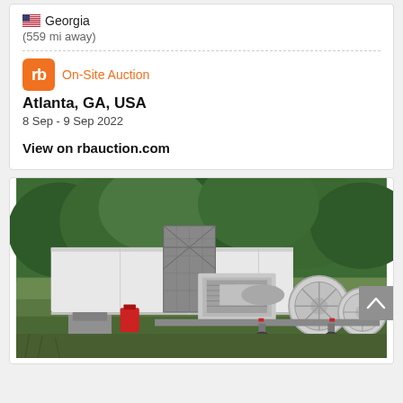🇺🇸 Georgia
(559 mi away)
On-Site Auction
Atlanta, GA, USA
8 Sep - 9 Sep 2022
View on rbauction.com
[Figure (photo): Outdoor photo of heavy equipment including cable reel trailers and industrial machinery parked on grass, with a white semi-trailer truck and trees in the background]